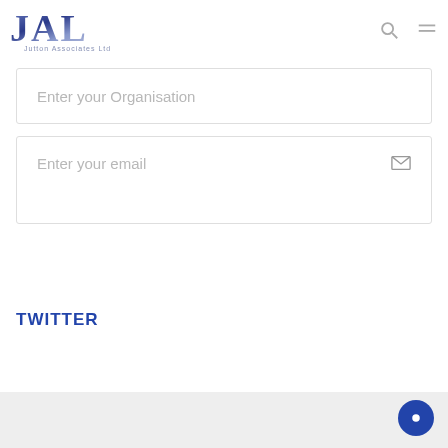[Figure (logo): JAL logo with gradient blue letters and 'Jutton Associates Ltd' subtitle]
Enter your Organisation
Enter your email
TWITTER